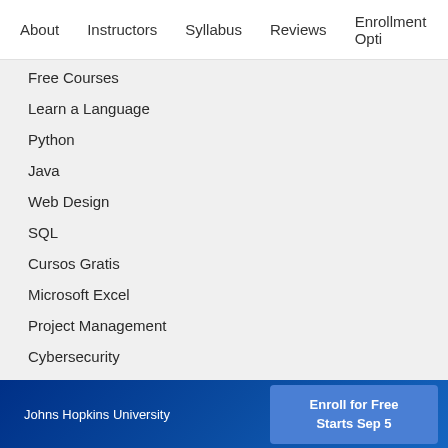About   Instructors   Syllabus   Reviews   Enrollment Opti
Free Courses
Learn a Language
Python
Java
Web Design
SQL
Cursos Gratis
Microsoft Excel
Project Management
Cybersecurity
Human Resources
Johns Hopkins University   Enroll for Free Starts Sep 5